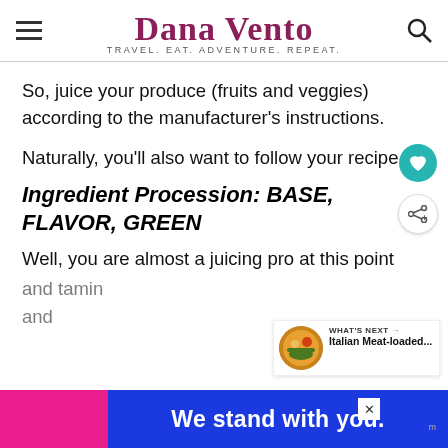Dana Vento — TRAVEL. EAT. ADVENTURE. REPEAT.
So, juice your produce (fruits and veggies) according to the manufacturer's instructions.
Naturally, you'll also want to follow your recipe.
Ingredient Procession: BASE, FLAVOR, GREEN
Well, you are almost a juicing pro at this point and...vitamin and...
[Figure (other): We stand with you. advertisement banner with pink and blue background]
[Figure (other): What's Next widget showing Italian Meat-loaded... article thumbnail]